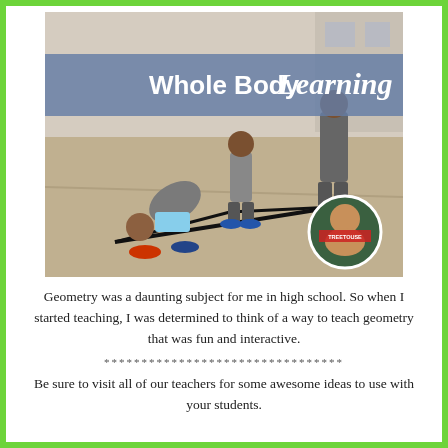[Figure (photo): Children outdoors on a concrete surface using a rope or string to form geometric shapes. The photo has a semi-transparent blue-grey banner overlay with the text 'Whole Body Learning'. A circular avatar of a teacher/author is overlaid in the bottom-right corner.]
Geometry was a daunting subject for me in high school. So when I started teaching, I was determined to think of a way to teach geometry that was fun and interactive.
********************************
Be sure to visit all of our teachers for some awesome ideas to use with your students.